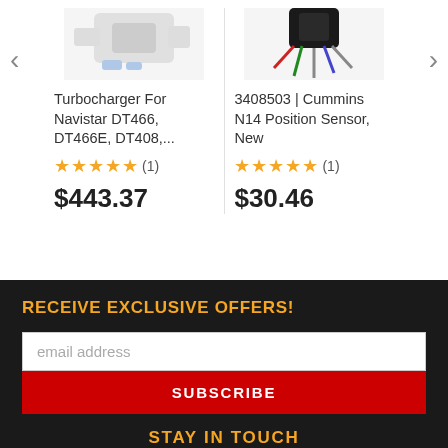[Figure (photo): Turbocharger product image (partial, top cropped)]
Turbocharger For Navistar DT466, DT466E, DT408,...
★★★★★ (1)
$443.37
[Figure (photo): Cummins N14 Position Sensor product image (partial, top cropped)]
3408503 | Cummins N14 Position Sensor, New
★★★★★ (1)
$30.46
RECEIVE EXCLUSIVE OFFERS!
email address
SUBSCRIBE
STAY IN TOUCH